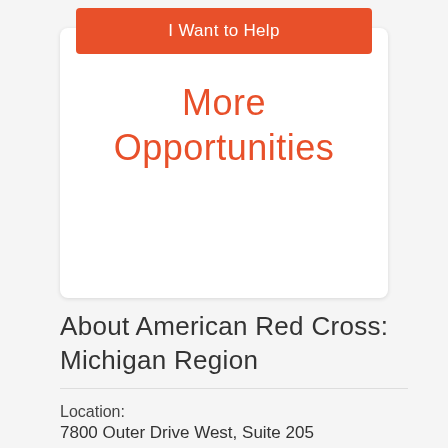I Want to Help
More Opportunities
About American Red Cross: Michigan Region
Location:
7800 Outer Drive West, Suite 205